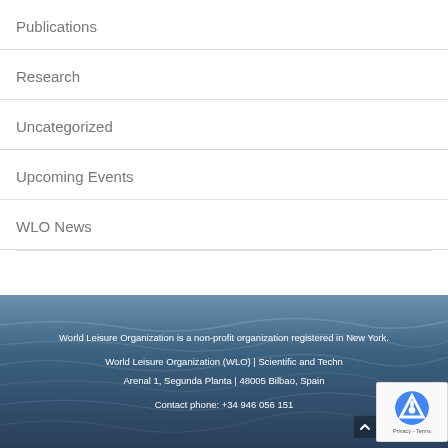Publications
Research
Uncategorized
Upcoming Events
WLO News
World Leisure Organization is a non-profit organization registered in New York.
World Leisure Organization (WLO) | Scientific and Techn... Arenal 1, Segunda Planta | 48005 Bilbao, Spain
Contact phone: +34 946 056 151